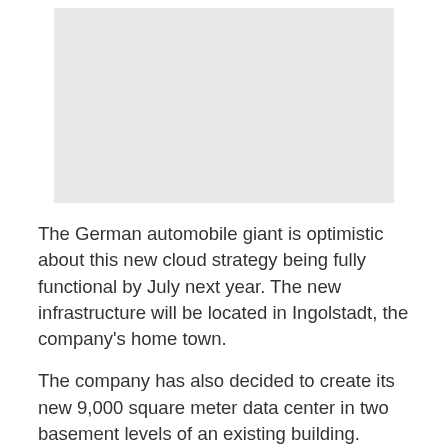[Figure (other): Gray placeholder image rectangle at top of page]
The German automobile giant is optimistic about this new cloud strategy being fully functional by July next year. The new infrastructure will be located in Ingolstadt, the company's home town.
The company has also decided to create its new 9,000 square meter data center in two basement levels of an existing building. Storing the new cloud platform in the basement levels of the building, which could reduce cooling costs by up to 50 percent, enabling